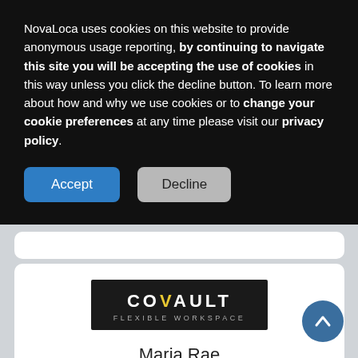NovaLoca uses cookies on this website to provide anonymous usage reporting, by continuing to navigate this site you will be accepting the use of cookies in this way unless you click the decline button. To learn more about how and why we use cookies or to change your cookie preferences at any time please visit our privacy policy.
Accept
Decline
[Figure (logo): CoVault Flexible Workspace logo — white text on black background]
Maria Rae
CoVault
0141 432 1847